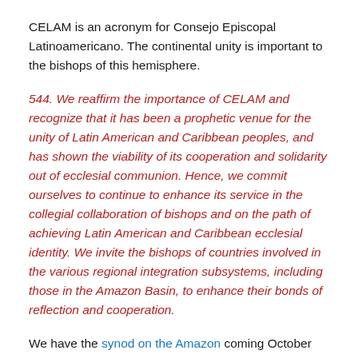CELAM is an acronym for Consejo Episcopal Latinoamericano. The continental unity is important to the bishops of this hemisphere.
544. We reaffirm the importance of CELAM and recognize that it has been a prophetic venue for the unity of Latin American and Caribbean peoples, and has shown the viability of its cooperation and solidarity out of ecclesial communion. Hence, we commit ourselves to continue to enhance its service in the collegial collaboration of bishops and on the path of achieving Latin American and Caribbean ecclesial identity. We invite the bishops of countries involved in the various regional integration subsystems, including those in the Amazon Basin, to enhance their bonds of reflection and cooperation.
We have the synod on the Amazon coming October next